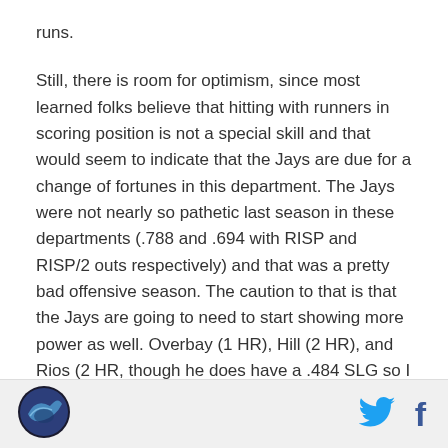runs.
Still, there is room for optimism, since most learned folks believe that hitting with runners in scoring position is not a special skill and that would seem to indicate that the Jays are due for a change of fortunes in this department. The Jays were not nearly so pathetic last season in these departments (.788 and .694 with RISP and RISP/2 outs respectively) and that was a pretty bad offensive season. The caution to that is that the Jays are going to need to start showing more power as well. Overbay (1 HR), Hill (2 HR), and Rios (2 HR, though he does have a .484 SLG so I don't want to overstate my case here) are going to have to do better in this department and Delgado his bull need to
Logo | Twitter | Facebook